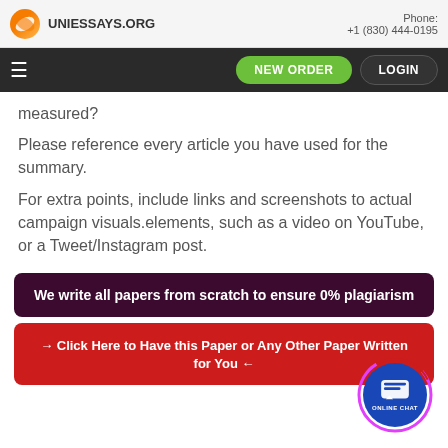UNIESSAYS.ORG
measured?
Please reference every article you have used for the summary.
For extra points, include links and screenshots to actual campaign visuals.elements, such as a video on YouTube, or a Tweet/Instagram post.
We write all papers from scratch to ensure 0% plagiarism
→ Click Here to Have this Paper or Any Other Paper Written for You ←
[Figure (illustration): Online chat widget button — blue circle with speech bubble icon and 'ONLINE CHAT' text, surrounded by pink/purple arc ring]